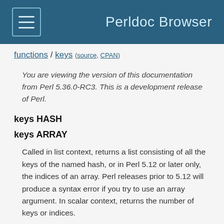Perldoc Browser
functions / keys (source, CPAN)
You are viewing the version of this documentation from Perl 5.36.0-RC3. This is a development release of Perl.
keys HASH
keys ARRAY
Called in list context, returns a list consisting of all the keys of the named hash, or in Perl 5.12 or later only, the indices of an array. Perl releases prior to 5.12 will produce a syntax error if you try to use an array argument. In scalar context, returns the number of keys or indices.
Hash entries are returned in an apparently random order. The actual random order is specific to a